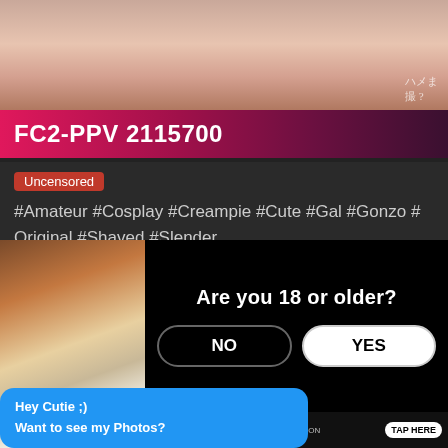[Figure (photo): Partial view of a person lying down, cropped image with Japanese watermark text in bottom right]
FC2-PPV 2115700
Uncensored
#Amateur #Cosplay #Creampie #Cute #Gal #Gonzo #Original #Shaved #Slender
[Figure (screenshot): Age verification overlay asking 'Are you 18 or older?' with NO and YES buttons over a dark background]
Are you 18 or older?
NO
YES
[Figure (screenshot): TikTok advertisement banner with logo, notification badge, profile thumbnail, and TAP HERE button]
Hey Cutie ;)
Want to see my Photos?